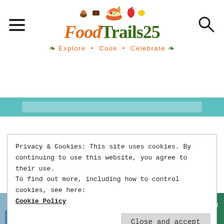FoodTrails25 — Explore • Cook • Celebrate
[Figure (logo): FoodTrails25 logo with food icons (muffin, chocolate, bowl, pepper, lemon) above stylized text 'FoodTrails25' in green and orange, tagline 'Explore • Cook • Celebrate' in orange/green]
[Figure (infographic): Teal/turquoise banner bar with a lighter rectangle in the center]
Privacy & Cookies: This site uses cookies. By continuing to use this website, you agree to their use.
To find out more, including how to control cookies, see here:
Cookie Policy
[Figure (infographic): SHE Partner Network advertisement banner in teal with photo of woman, bullets: Earning site & social revenue, Traffic growth, Speaking on our stages, SHE logo, LEARN MORE button]